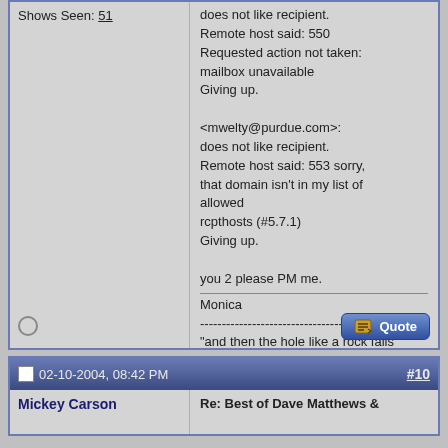Shows Seen: 51
does not like recipient.
Remote host said: 550 Requested action not taken: mailbox unavailable
Giving up.

<mwelty@purdue.com>: does not like recipient.
Remote host said: 553 sorry, that domain isn't in my list of allowed rcpthosts (#5.7.1)
Giving up.

you 2 please PM me.
____________________
Monica
------------------------------------
"and then the hole like a rock falls
into a black bottomless well
and the red blue blood comes through her
feels as cold as ice in her hell..."
02-10-2004, 08:42 PM
#10
Mickey Carson
Re: Best of Dave Matthews &